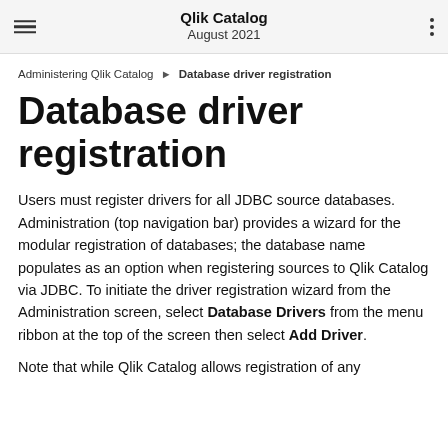Qlik Catalog August 2021
Administering Qlik Catalog ▶ Database driver registration
Database driver registration
Users must register drivers for all JDBC source databases. Administration (top navigation bar) provides a wizard for the modular registration of databases; the database name populates as an option when registering sources to Qlik Catalog via JDBC. To initiate the driver registration wizard from the Administration screen, select Database Drivers from the menu ribbon at the top of the screen then select Add Driver.
Note that while Qlik Catalog allows registration of any